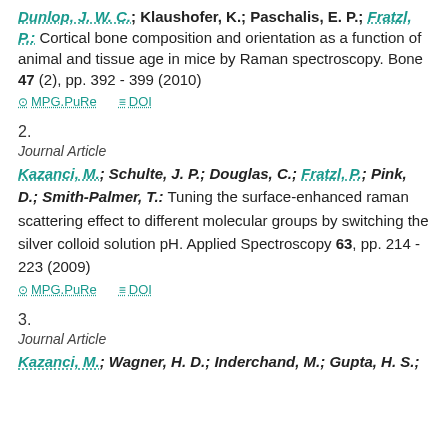Dunlop, J. W. C.; Klaushofer, K.; Paschalis, E. P.; Fratzl, P.: Cortical bone composition and orientation as a function of animal and tissue age in mice by Raman spectroscopy. Bone 47 (2), pp. 392 - 399 (2010)
MPG.PuRe   DOI
2.
Journal Article
Kazanci, M.; Schulte, J. P.; Douglas, C.; Fratzl, P.; Pink, D.; Smith-Palmer, T.: Tuning the surface-enhanced raman scattering effect to different molecular groups by switching the silver colloid solution pH. Applied Spectroscopy 63, pp. 214 - 223 (2009)
MPG.PuRe   DOI
3.
Journal Article
Kazanci, M.; Wagner, H. D.; Inderchand, M.; Gupta, H. S.;